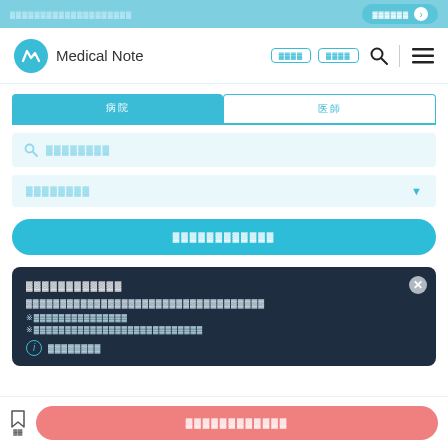医療機関・医師を探す (Japanese medical institution search UI)
[Figure (screenshot): Medical Note website header with logo, search and navigation buttons]
病院 (Hospital tab - active)
医師 (Doctor tab - inactive)
病院名・地名・駅名で検索 (Search by hospital, location, or station name)
診療科を選択してください (Please select a department)
この条件で病院を絞り込む (Filter hospitals with these conditions - CTA button)
メディカルノートへようこそ (Welcome to Medical Note)
医療機関・医師の検索について説明します (Description about medical institution and doctor search)
※診断・治療は医師の判断です (Diagnosis and treatment are physician decisions)
※個人情報の取り扱いについてはプライバシーポリシーをご確認ください (Please see privacy policy for personal information handling)
ℹ 詳しくはこちら (For more details here)
お気に入りに追加する (Add to favorites - bottom CTA button)